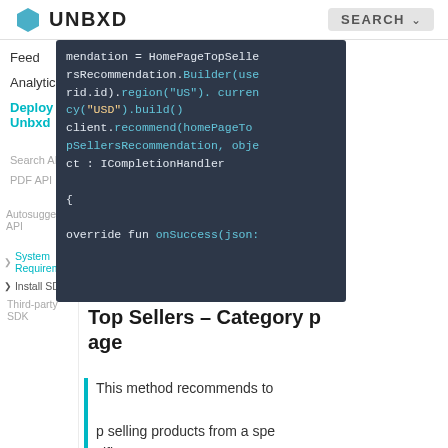UNBXD | SEARCH
[Figure (screenshot): Code block showing Kotlin/Java SDK code for HomePageTopSellersRecommendation with Builder pattern, region, currency, and onSuccess callback]
Top Sellers – Category page
This method recommends top selling products from a specific category.